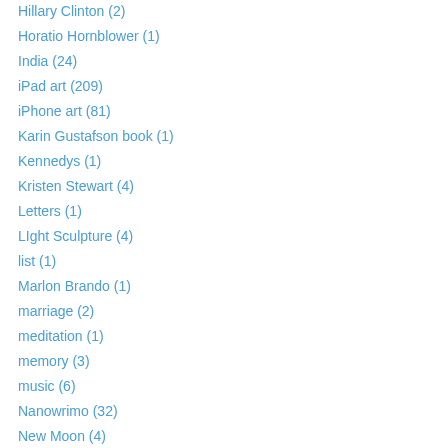Hillary Clinton (2)
Horatio Hornblower (1)
India (24)
iPad art (209)
iPhone art (81)
Karin Gustafson book (1)
Kennedys (1)
Kristen Stewart (4)
Letters (1)
LIght Sculpture (4)
list (1)
Marlon Brando (1)
marriage (2)
meditation (1)
memory (3)
music (6)
Nanowrimo (32)
New Moon (4)
New York City (128)
news (261)